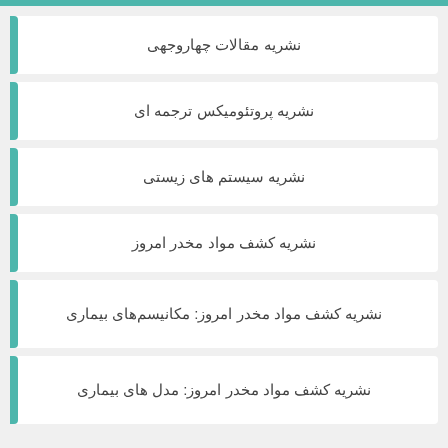نشریه مقالات چهاروجهی
نشریه پروتئومیکس ترجمه ای
نشریه سیستم های زیستی
نشریه کشف مواد مخدر امروز
نشریه کشف مواد مخدر امروز: مکانیسم‌های بیماری
نشریه کشف مواد مخدر امروز: مدل های بیماری